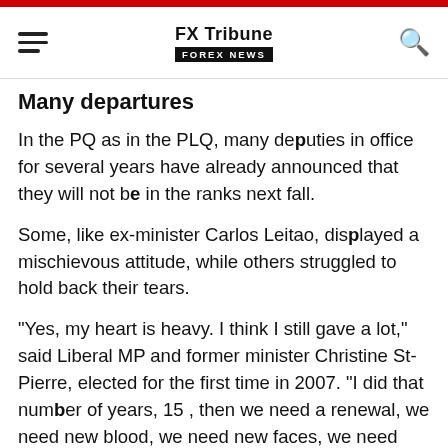FX Tribune FOREX NEWS
Many departures
In the PQ as in the PLQ, many deputies in office for several years have already announced that they will not be in the ranks next fall.
Some, like ex-minister Carlos Leitao, displayed a mischievous attitude, while others struggled to hold back their tears.
"Yes, my heart is heavy. I think I still gave a lot," said Liberal MP and former minister Christine St-Pierre, elected for the first time in 2007. "I did that number of years, 15 , then we need a renewal, we need new blood, we need new faces, we need new ideas", she added.
A few minutes earlier, Ms. St-Pierre had offered a